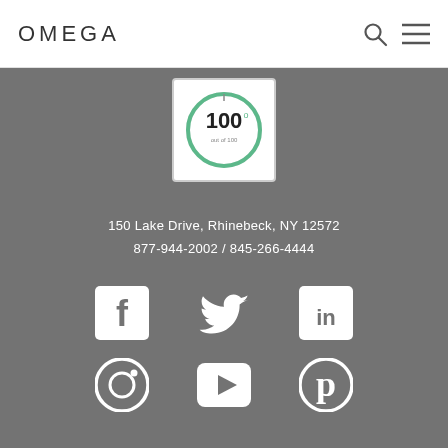OMEGA
[Figure (other): Circular score badge showing 100 out of 100]
150 Lake Drive, Rhinebeck, NY 12572
877-944-2002  /  845-266-4444
[Figure (other): Social media icons: Facebook, Twitter, LinkedIn, Instagram, YouTube, Pinterest]